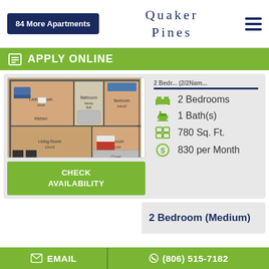84 More Apartments
Quaker Pines
APPLY ONLINE
[Figure (illustration): Floor plan of a 2-bedroom apartment showing living room, kitchen, bathroom, and two bedrooms with dimensions labeled]
CHECK AVAILABILITY
2 Bedrooms
1 Bath(s)
780 Sq. Ft.
830 per Month
2 Bedroom (Medium)
EMAIL
(806) 515-7182